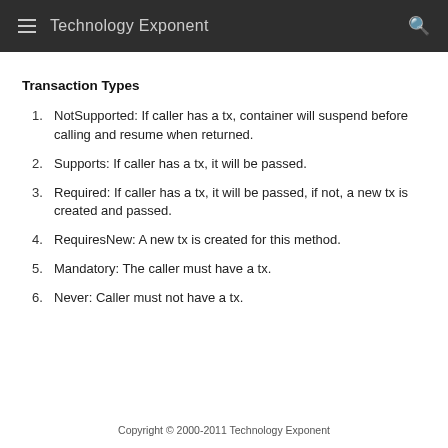Technology Exponent
Transaction Types
NotSupported: If caller has a tx, container will suspend before calling and resume when returned.
Supports: If caller has a tx, it will be passed.
Required: If caller has a tx, it will be passed, if not, a new tx is created and passed.
RequiresNew: A new tx is created for this method.
Mandatory: The caller must have a tx.
Never: Caller must not have a tx.
Copyright © 2000-2011 Technology Exponent